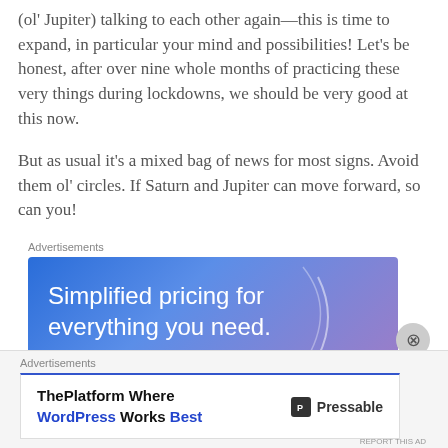(ol' Jupiter) talking to each other again—this is time to expand, in particular your mind and possibilities! Let's be honest, after over nine whole months of practicing these very things during lockdowns, we should be very good at this now.
But as usual it's a mixed bag of news for most signs. Avoid them ol' circles. If Saturn and Jupiter can move forward, so can you!
[Figure (other): Advertisement banner: blue-purple gradient background with white text reading 'Simplified pricing for everything you need.' with a close button (X) on the right side.]
[Figure (other): Advertisement box: ThePlatform Where WordPress Works Best - Pressable logo on the right.]